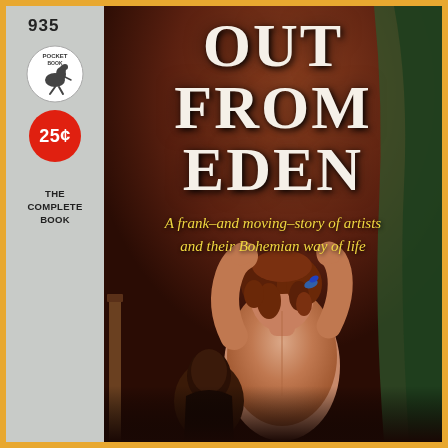935
[Figure (logo): Pocket Book publisher logo with kangaroo]
25¢
THE COMPLETE BOOK
OUT FROM EDEN
A frank–and moving–story of artists and their Bohemian way of life
[Figure (illustration): Painted cover illustration showing a woman viewed from behind with arms raised fixing her hair, with a man visible in the background. Dark reddish-brown tones throughout.]